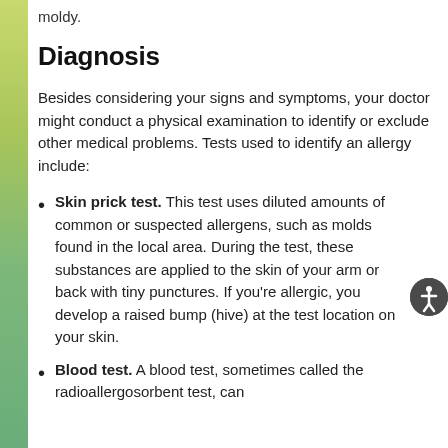moldy.
Diagnosis
Besides considering your signs and symptoms, your doctor might conduct a physical examination to identify or exclude other medical problems. Tests used to identify an allergy include:
Skin prick test. This test uses diluted amounts of common or suspected allergens, such as molds found in the local area. During the test, these substances are applied to the skin of your arm or back with tiny punctures. If you're allergic, you develop a raised bump (hive) at the test location on your skin.
Blood test. A blood test, sometimes called the radioallergosorbent test, can